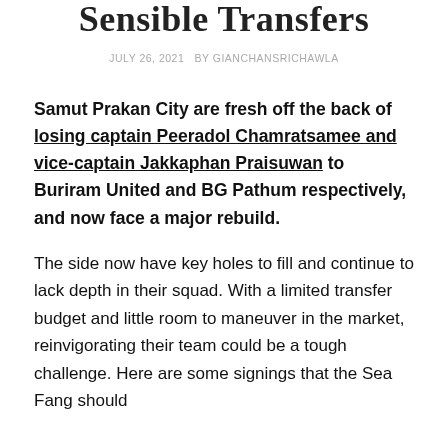Sensible Transfers
JULY 26, 2021   BY GIANCHANSRICHAWLA
Samut Prakan City are fresh off the back of losing captain Peeradol Chamratsamee and vice-captain Jakkaphan Praisuwan to Buriram United and BG Pathum respectively, and now face a major rebuild.
The side now have key holes to fill and continue to lack depth in their squad. With a limited transfer budget and little room to maneuver in the market, reinvigorating their team could be a tough challenge. Here are some signings that the Sea Fang should